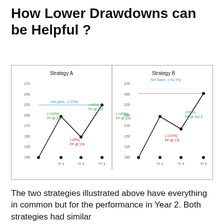How Lower Drawdowns can be Helpful ?
[Figure (line-chart): Two line charts side by side. Strategy A: starts at 100, drops to 150 (-25%), rises to 225 (+60%). Net gains: (+25%). Strategy B: starts at 100, drops to 170 (-12.5%), rises to 262.5 (+50%). Net Gains: (+62.5%).]
The two strategies illustrated above have everything in common but for the performance in Year 2. Both strategies had similar...